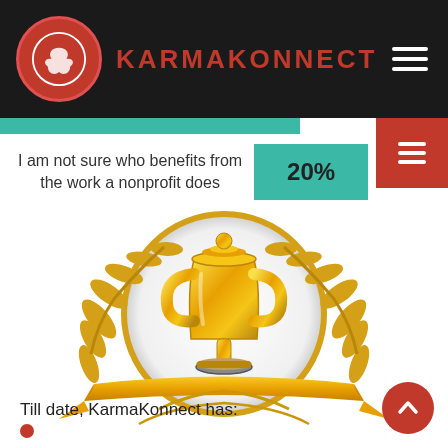KARMAKONNECT
I am not sure who benefits from the work a nonprofit does  20%
[Figure (illustration): Gold trophy cup with laurel wreath and ribbon banner, award illustration]
Till date, KarmaKonnect has: